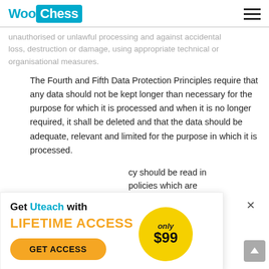WooChess
unauthorised or unlawful processing and against accidental loss, destruction or damage, using appropriate technical or organisational measures.
The Fourth and Fifth Data Protection Principles require that any data should not be kept longer than necessary for the purpose for which it is processed and when it is no longer required, it shall be deleted and that the data should be adequate, relevant and limited for the purpose in which it is processed.
...cy should be read in ...policies which are ...protection policy
[Figure (infographic): Promotional popup banner: 'Get Uteach with LIFETIME ACCESS only $99 GET ACCESS' button with badge circle showing 'only $99']